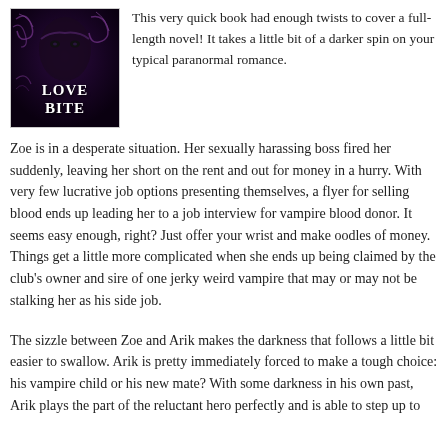[Figure (illustration): Book cover for 'Love Bite' showing a dark-haired man's face with decorative swirls, dark purple/black background, with bold white text 'LOVE BITE' at the bottom.]
This very quick book had enough twists to cover a full-length novel! It takes a little bit of a darker spin on your typical paranormal romance.
Zoe is in a desperate situation. Her sexually harassing boss fired her suddenly, leaving her short on the rent and out for money in a hurry. With very few lucrative job options presenting themselves, a flyer for selling blood ends up leading her to a job interview for vampire blood donor. It seems easy enough, right? Just offer your wrist and make oodles of money. Things get a little more complicated when she ends up being claimed by the club's owner and sire of one jerky weird vampire that may or may not be stalking her as his side job.
The sizzle between Zoe and Arik makes the darkness that follows a little bit easier to swallow. Arik is pretty immediately forced to make a tough choice: his vampire child or his new mate? With some darkness in his own past, Arik plays the part of the reluctant hero perfectly and is able to step up to